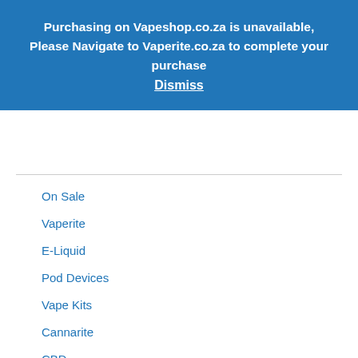Purchasing on Vapeshop.co.za is unavailable, Please Navigate to Vaperite.co.za to complete your purchase
Dismiss
On Sale
Vaperite
E-Liquid
Pod Devices
Vape Kits
Cannarite
CBD
Dry Herb Vaporizers